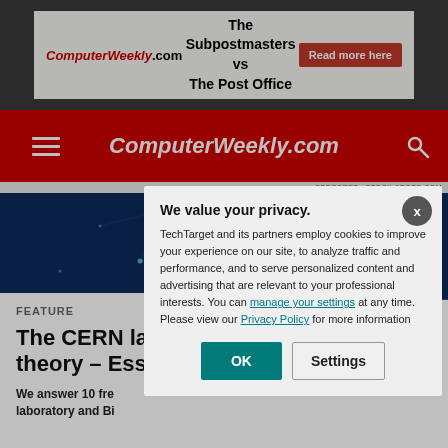[Figure (screenshot): ComputerWeekly.com advertisement banner: 'The Subpostmasters vs The Post Office' with Read more here button]
ComputerWeekly.com
SDECORET - STOCK.ADOBE.COM
[Figure (photo): Blue network/particle background hero image]
FEATURE
The CERN la theory – Ess
We answer 10 fre laboratory and Bi
We value your privacy. TechTarget and its partners employ cookies to improve your experience on our site, to analyze traffic and performance, and to serve personalized content and advertising that are relevant to your professional interests. You can manage your settings at any time. Please view our Privacy Policy for more information
OK
Settings